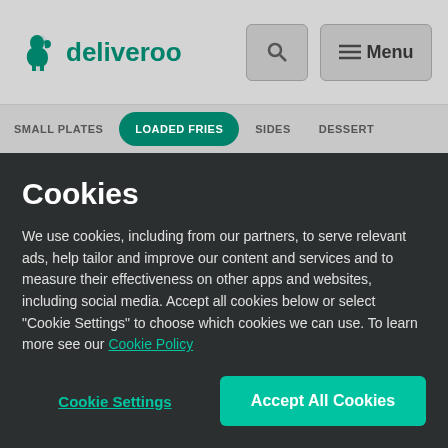[Figure (logo): Deliveroo logo with kangaroo icon and search/menu buttons in a greyed-out header]
SMALL PLATES   LOADED FRIES   SIDES   DESSERT
Cookies
We use cookies, including from our partners, to serve relevant ads, help tailor and improve our content and services and to measure their effectiveness on other apps and websites, including social media. Accept all cookies below or select “Cookie Settings” to choose which cookies we can use. To learn more see our Cookie Policy
Cookie Settings
Accept All Cookies